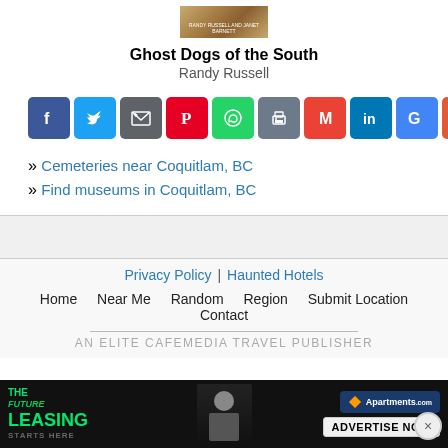[Figure (illustration): Book cover thumbnail for Ghost Dogs of the South by Randy Russell and Janet Barnett]
Ghost Dogs of the South
Randy Russell
[Figure (infographic): Row of social sharing buttons: Facebook, Twitter, Email, Pinterest, WhatsApp, Print, Gmail, LinkedIn, Google+, More]
» Cemeteries near Coquitlam, BC
» Find museums in Coquitlam, BC
Privacy Policy | Haunted Hotels
Home   Near Me   Random   Region   Submit Location   Contact
AN ELITE CAFEMEDIA TRAVEL PUBLISHER
[Figure (screenshot): Advertisement banner: The Future of Leasing - Apartments.com - Advertise Now]